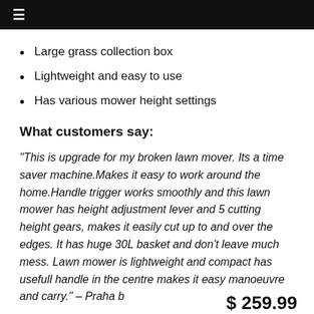≡
Large grass collection box
Lightweight and easy to use
Has various mower height settings
What customers say:
“This is upgrade for my broken lawn mover. Its a time saver machine.Makes it easy to work around the home.Handle trigger works smoothly and this lawn mower has height adjustment lever and 5 cutting height gears, makes it easily cut up to and over the edges. It has huge 30L basket and don’t leave much mess. Lawn mower is lightweight and compact has usefull handle in the centre makes it easy manoeuvre and carry.” – Praha b
$ 259.99